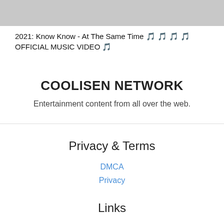[Figure (screenshot): Gray thumbnail/banner area at top of page]
2021: Know Know - At The Same Time 🎵🎵🎵🎵 OFFICIAL MUSIC VIDEO 🎵
COOLISEN NETWORK
Entertainment content from all over the web.
Privacy & Terms
DMCA
Privacy
Links
© Copyright ...